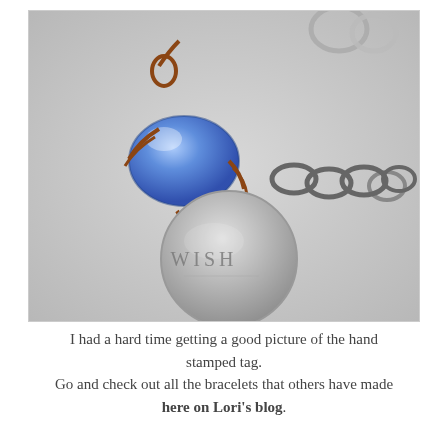[Figure (photo): Close-up photograph of a handmade charm bracelet featuring a blue glass bead wrapped in copper wire, a dark metal chain, and a round silver hand-stamped metal tag with the word 'WISH' stamped on it. The background is light gray.]
I had a hard time getting a good picture of the hand stamped tag.
Go and check out all the bracelets that others have made here on Lori's blog.